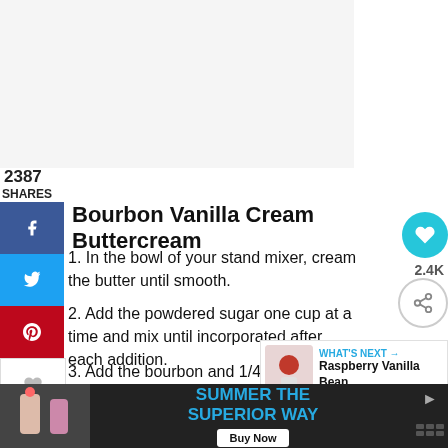[Figure (photo): Top image area (recipe photo, partially visible)]
2387
SHARES
Bourbon Vanilla Cream Buttercream
In the bowl of your stand mixer, cream the butter until smooth.
Add the powdered sugar one cup at a time and mix until incorporated after each addition.
Add the bourbon and 1/4 cup of Bourbon Vanilla Cream. Beat until smooth.
4. Mix in the salt.
5. Add up to 1/4 cup more Bourbon Vanilla Cream until
[Figure (photo): What's Next widget: Raspberry Vanilla Bean... recipe thumbnail]
[Figure (photo): Bottom advertisement banner: SUMMER THE SUPERIOR WAY, Buy Now]